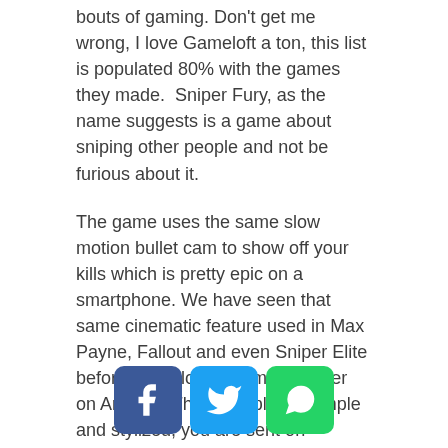bouts of gaming. Don't get me wrong, I love Gameloft a ton, this list is populated 80% with the games they made.  Sniper Fury, as the name suggests is a game about sniping other people and not be furious about it.
The game uses the same slow motion bullet cam to show off your kills which is pretty epic on a smartphone. We have seen that same cinematic feature used in Max Payne, Fallout and even Sniper Elite before and it looks so much better on Android. The gameplay is simple and stylized, you are sent on assassination missions that sometimes have some specific conditions. Aiming and
[Figure (other): Social sharing buttons: Facebook (blue), Twitter (light blue), WhatsApp (green)]